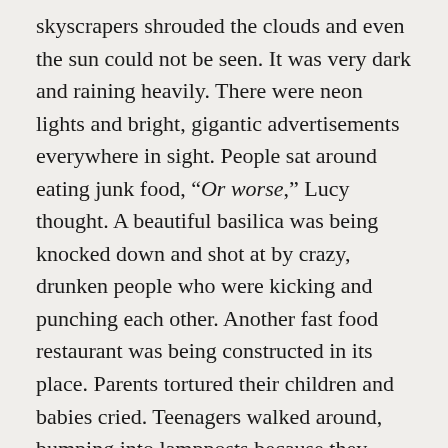skyscrapers shrouded the clouds and even the sun could not be seen. It was very dark and raining heavily. There were neon lights and bright, gigantic advertisements everywhere in sight. People sat around eating junk food, "Or worse," Lucy thought. A beautiful basilica was being knocked down and shot at by crazy, drunken people who were kicking and punching each other. Another fast food restaurant was being constructed in its place. Parents tortured their children and babies cried. Teenagers walked around, bumping into lampposts because they were listening to music, talking on their cell phones, biting their nails, texting and doing at least ten other things in their own little worlds. Nobody was listening to anybody else and everybody was wearing ripped jeans, low shirts and weird shoes. Girls wore too much makeup. Everything cost so much. "It was terrible," Lucy